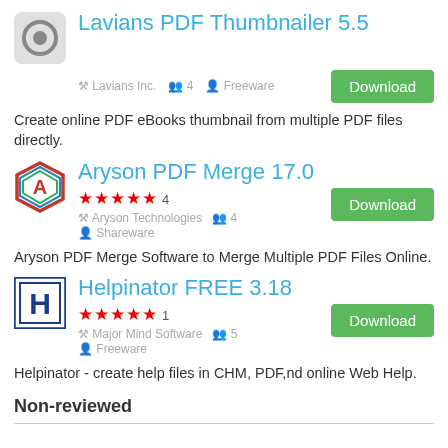Lavians PDF Thumbnailer 5.5
Lavians Inc.  4  Freeware
Create online PDF eBooks thumbnail from multiple PDF files directly.
Aryson PDF Merge 17.0
★★★★★ 4
Aryson Technologies  4
Shareware
Aryson PDF Merge Software to Merge Multiple PDF Files Online.
Helpinator FREE 3.18
★★★★★ 1
Major Mind Software  5
Freeware
Helpinator - create help files in CHM, PDF,nd online Web Help.
Non-reviewed